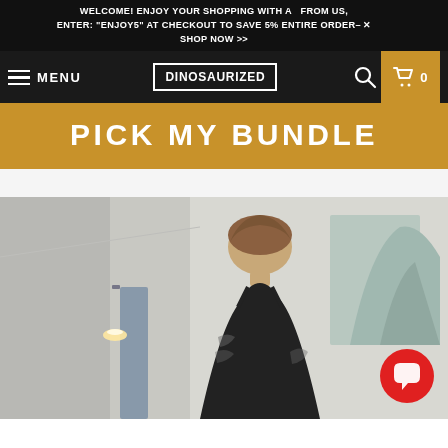WELCOME! ENJOY YOUR SHOPPING WITH A  FROM US, ENTER: "ENJOY5" AT CHECKOUT TO SAVE 5% ENTIRE ORDER- SHOP NOW >>
[Figure (screenshot): E-commerce website navigation bar for DINOSAURIZED with hamburger menu, logo, search icon, and cart showing 0 items]
PICK MY BUNDLE
[Figure (photo): Young woman with tattoos wearing a black tank top, looking down, standing indoors with a mirror and wall art visible in background. A red chat bubble icon appears in the bottom right corner.]